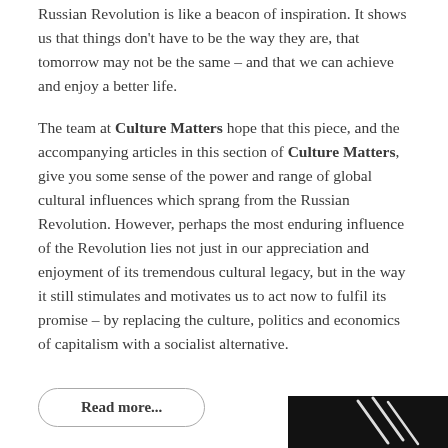Russian Revolution is like a beacon of inspiration. It shows us that things don't have to be the way they are, that tomorrow may not be the same – and that we can achieve and enjoy a better life.
The team at Culture Matters hope that this piece, and the accompanying articles in this section of Culture Matters, give you some sense of the power and range of global cultural influences which sprang from the Russian Revolution. However, perhaps the most enduring influence of the Revolution lies not just in our appreciation and enjoyment of its tremendous cultural legacy, but in the way it still stimulates and motivates us to act now to fulfil its promise – by replacing the culture, politics and economics of capitalism with a socialist alternative.
Read more...
[Figure (photo): Partial dark image visible at bottom right corner of the page, appears to be a black and white photograph]